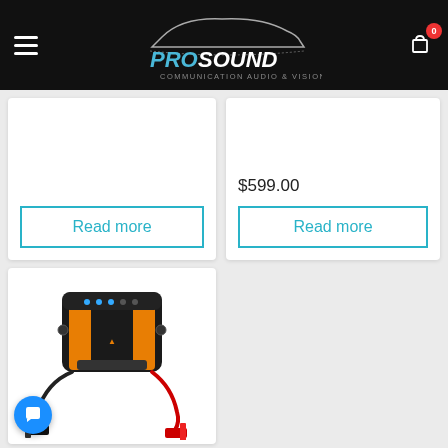ProSound Communication Audio & Vision — navigation header with logo and cart
$599.00
Read more
Read more
[Figure (photo): Portable car jump starter device, black and orange color, with jumper cables (red and black clamps), blue LED indicators on top, Temu branding visible]
Chat bubble icon (customer support)